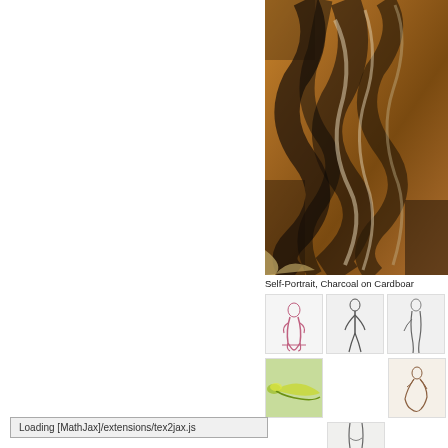[Figure (photo): Large charcoal self-portrait drawing on cardboard with dark and amber tones, partially cropped, filling the upper right of the page.]
Self-Portrait, Charcoal on Cardboar...
[Figure (illustration): Thumbnail sketch of seated nude figure in reddish/pink tones.]
[Figure (illustration): Thumbnail sketch of standing figure in graphite.]
[Figure (illustration): Thumbnail sketch of standing figure, partial view, graphite.]
[Figure (illustration): Thumbnail of reclining figure in green and yellow tones.]
[Figure (illustration): Thumbnail of crouching figure in sepia/brown tones.]
[Figure (illustration): Thumbnail of figure study, lower portion, graphite.]
Loading [MathJax]/extensions/tex2jax.js